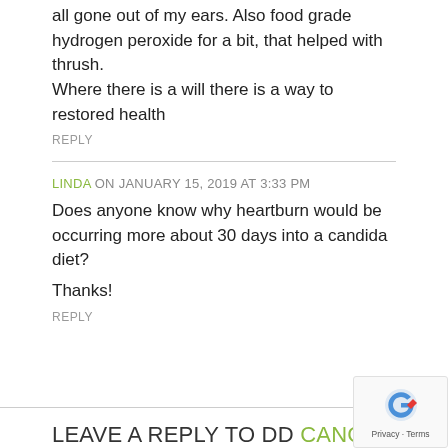all gone out of my ears. Also food grade hydrogen peroxide for a bit, that helped with thrush.
Where there is a will there is a way to restored health
REPLY
LINDA ON JANUARY 15, 2019 AT 3:33 PM
Does anyone know why heartburn would be occurring more about 30 days into a candida diet?

Thanks!
REPLY
LEAVE A REPLY TO DD CANCEL